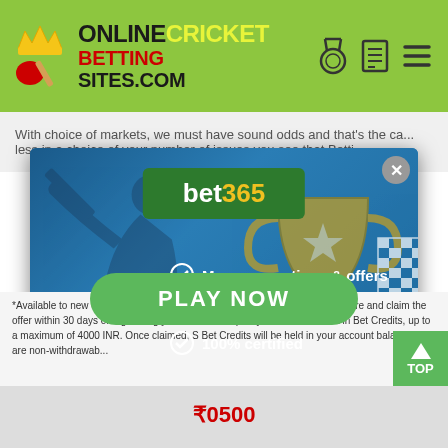OnlineCricket BettingSites.com
With choice of markets, we must have sound odds and that's the ca... less in a choice of your number of issues you see that Betti...
[Figure (screenshot): bet365 promotional popup modal with cricket background showing: bet365 logo in green box, checkmarks for 'Many promotions & offers', 'Fast payouts', '100% certified', bonus offer 'up to ₹4000 in bet credits', and green PLAY NOW button. Cricket silhouette and trophy in background.]
*Available to new customers only. Make a qualifying deposit of 717 INR or more and claim the offer within 30 days of registering your account to qualify for 1 that amount in Bet Credits, up to a maximum of 4000 INR. Once claimed, S Bet Credits will be held in your account balance and are non-withdrawab...
₹0500